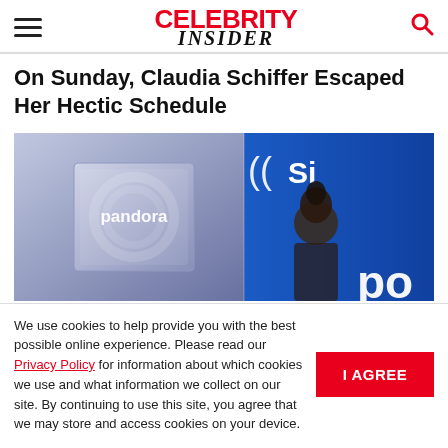CELEBRITY INSIDER
On Sunday, Claudia Schiffer Escaped Her Hectic Schedule
[Figure (photo): Photo showing Pandora branded display on the left and a woman in front of a blue SiriusXM background on the right]
We use cookies to help provide you with the best possible online experience. Please read our Privacy Policy for information about which cookies we use and what information we collect on our site. By continuing to use this site, you agree that we may store and access cookies on your device.